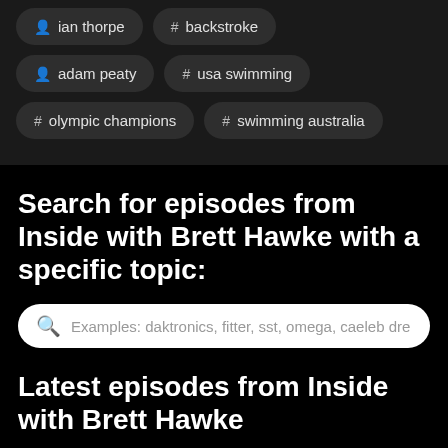ian thorpe
# backstroke
adam peaty
# usa swimming
# olympic champions
# swimming australia
Search for episodes from Inside with Brett Hawke with a specific topic:
Examples: daktronics, fitter, sst, omega, caeleb dre
Latest episodes from Inside with Brett Hawke
Alexander Popov analyzes David